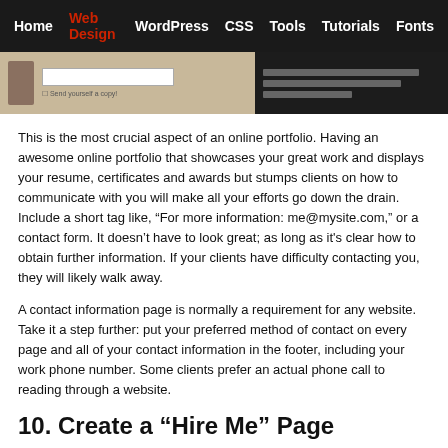Home | Web Design | WordPress | CSS | Tools | Tutorials | Fonts
[Figure (screenshot): Screenshot of a contact form on a vintage/tan background on the left, and a dark sidebar with text on the right. A small decorative icon appears on the left side.]
This is the most crucial aspect of an online portfolio. Having an awesome online portfolio that showcases your great work and displays your resume, certificates and awards but stumps clients on how to communicate with you will make all your efforts go down the drain. Include a short tag like, “For more information: me@mysite.com,” or a contact form. It doesn’t have to look great; as long as it's clear how to obtain further information. If your clients have difficulty contacting you, they will likely walk away.
A contact information page is normally a requirement for any website. Take it a step further: put your preferred method of contact on every page and all of your contact information in the footer, including your work phone number. Some clients prefer an actual phone call to reading through a website.
10. Create a “Hire Me” Page